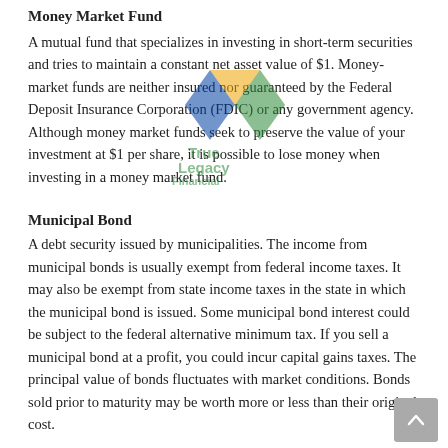Money Market Fund
A mutual fund that specializes in investing in short-term securities and tries to maintain a constant net asset value of $1. Money-market funds are neither insured nor guaranteed by the Federal Deposit Insurance Corporation (FDIC) or any government agency. Although money market funds seek to preserve the value of your investment at $1 per share, it is possible to lose money when investing in a money market fund.
Municipal Bond
A debt security issued by municipalities. The income from municipal bonds is usually exempt from federal income taxes. It may also be exempt from state income taxes in the state in which the municipal bond is issued. Some municipal bond interest could be subject to the federal alternative minimum tax. If you sell a municipal bond at a profit, you could incur capital gains taxes. The principal value of bonds fluctuates with market conditions. Bonds sold prior to maturity may be worth more or less than their original cost.